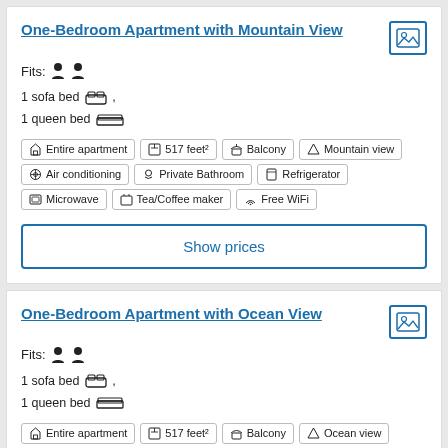One-Bedroom Apartment with Mountain View
Fits: 2 persons
1 sofa bed , 1 queen bed
Entire apartment | 517 feet² | Balcony | Mountain view | Air conditioning | Private Bathroom | Refrigerator | Microwave | Tea/Coffee maker | Free WiFi
Show prices
One-Bedroom Apartment with Ocean View
Fits: 2 persons
1 sofa bed , 1 queen bed
Entire apartment | 517 feet² | Balcony | Ocean view